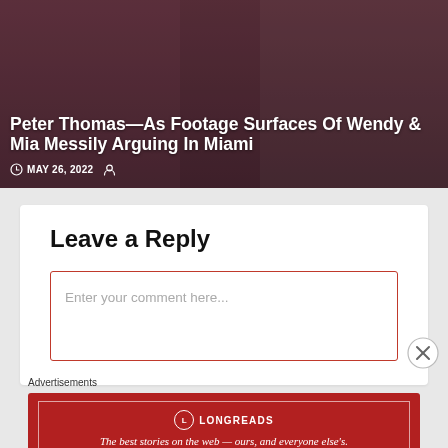[Figure (photo): Article card with dark-tinted photo background showing people in formal attire]
Peter Thomas—As Footage Surfaces Of Wendy & Mia Messily Arguing In Miami
MAY 26, 2022
Leave a Reply
Enter your comment here...
Advertisements
[Figure (other): Longreads advertisement banner: red background with logo and tagline 'The best stories on the web — ours, and everyone else's.']